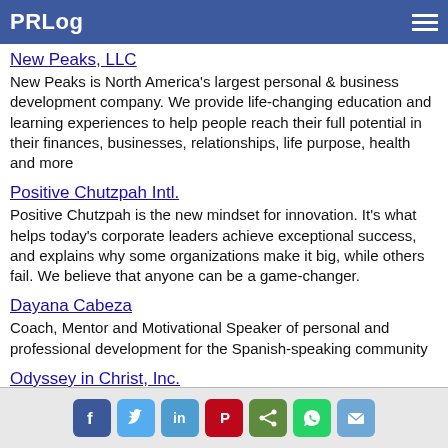PRLog
New Peaks, LLC
New Peaks is North America's largest personal & business development company. We provide life-changing education and learning experiences to help people reach their full potential in their finances, businesses, relationships, life purpose, health and more
Positive Chutzpah Intl.
Positive Chutzpah is the new mindset for innovation. It's what helps today's corporate leaders achieve exceptional success, and explains why some organizations make it big, while others fail. We believe that anyone can be a game-changer.
Dayana Cabeza
Coach, Mentor and Motivational Speaker of personal and professional development for the Spanish-speaking community
Odyssey in Christ, Inc.
Odyssey in Christ, Inc. is an international retreat/seminar ministry providing educational and training events in spiritual formation, spiritual discernment and spiritual direction.
Social share icons: Facebook, Twitter, LinkedIn, Pinterest, Share, WhatsApp, Email